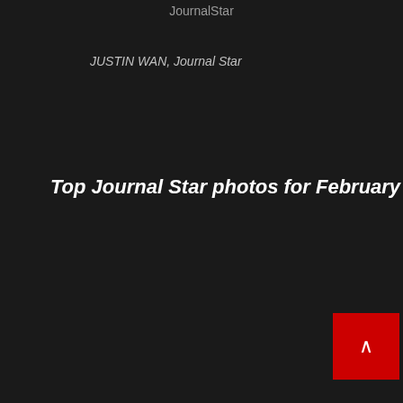JournalStar
JUSTIN WAN, Journal Star
Top Journal Star photos for February
[Figure (photo): Gray placeholder image area at bottom of page, partially visible]